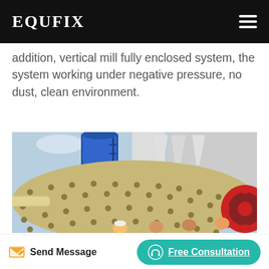EQUFIX
addition, vertical mill fully enclosed system, the system working under negative pressure, no dust, clean environment.
[Figure (photo): Industrial milling equipment: large cylindrical ball mill in foreground with bolted/studded surface and red gear wheel visible on right. Background shows blue silo, white cyclone separators, ductwork, and industrial structures under a partly cloudy sky. Several workers visible at the base.]
Send Message
Free Consultation